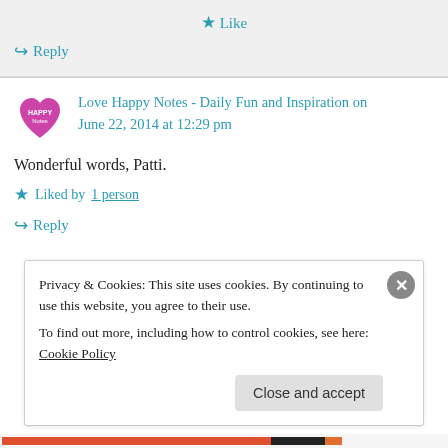★ Like
↪ Reply
Love Happy Notes - Daily Fun and Inspiration on June 22, 2014 at 12:29 pm
Wonderful words, Patti.
★ Liked by 1 person
↪ Reply
Privacy & Cookies: This site uses cookies. By continuing to use this website, you agree to their use. To find out more, including how to control cookies, see here: Cookie Policy
Close and accept